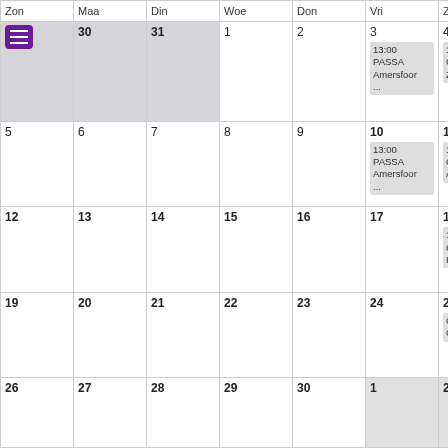| Zon | Maa | Din | Woe | Don | Vri | Zat |
| --- | --- | --- | --- | --- | --- | --- |
| [menu icon] 30 31 | 30 | 31 | 1 | 2 | 3 13:00 PASSA Amersfoor ... | 4 13:00 Contactdag Zwol ... |
| 5 | 6 | 7 | 8 | 9 | 10 13:00 PASSA Amersfoor ... | 11 13:00 Contactdag Arnh ... |
| 12 | 13 | 14 | 15 | 16 | 17 | 18 13:00 Contactdag Haar ... |
| 19 | 20 | 21 | 22 | 23 | 24 | 25 Contactdag Goes ... |
| 26 | 27 | 28 | 29 | 30 | 1 | 2 |